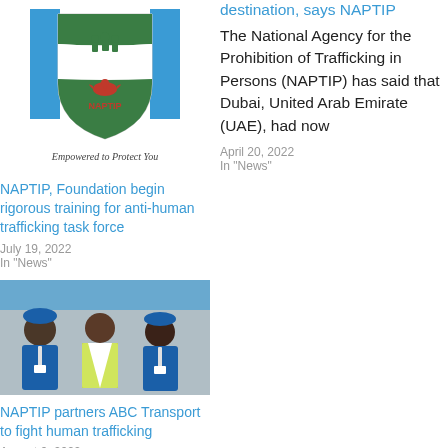[Figure (logo): NAPTIP shield logo in green, white, and blue colors with people silhouette, red eagle, and text 'NAPTIP'. Tagline: 'Empowered to Protect You']
NAPTIP, Foundation begin rigorous training for anti-human trafficking task force
July 19, 2022
In "News"
destination, says NAPTIP
The National Agency for the Prohibition of Trafficking in Persons (NAPTIP) has said that Dubai, United Arab Emirate (UAE), had now
April 20, 2022
In "News"
[Figure (photo): Three people indoors: two wearing blue caps and blue shirts with lanyards, one in a yellow hi-vis vest and white shirt. Background shows a banner.]
NAPTIP partners ABC Transport to fight human trafficking
August 9, 2022
In "News"